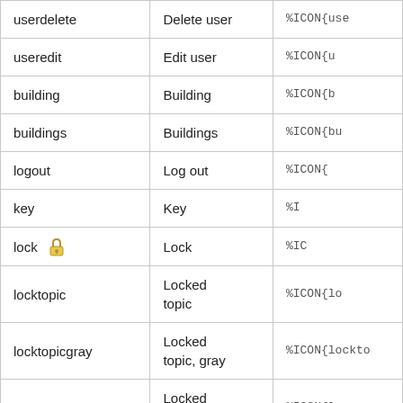| Name | Description | Syntax |
| --- | --- | --- |
| userdelete | Delete user | %ICON{use... |
| useredit | Edit user | %ICON{u... |
| building | Building | %ICON{b... |
| buildings | Buildings | %ICON{bu... |
| logout | Log out | %ICON{... |
| key | Key | %I... |
| lock | Lock | %IC... |
| locktopic | Locked topic | %ICON{lo... |
| locktopicgray | Locked topic, gray | %ICON{lockto... |
| lockfolder | Locked folder | %ICON{loc... |
| lockfoldergray | Locked folder, gray | %ICON{lockfol... |